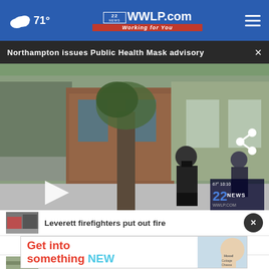71° WWLP.com 22 NEWS Working for You
Northampton issues Public Health Mask advisory
[Figure (screenshot): Video still showing a man in a black mask and black clothing walking on a sidewalk in front of brick commercial buildings. A tree trunk is visible in foreground. A play button overlay is visible on the left side. A 22 NEWS watermark and a share icon appear on the right.]
Leverett firefighters put out a fire
Get into something NEW
UMass Amherst ranked best campus